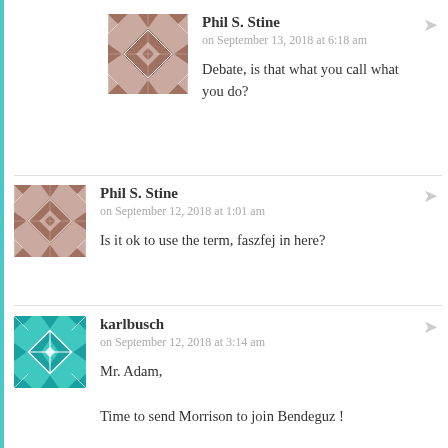[Figure (illustration): Quilt-pattern avatar icon in brownish-mauve color for Phil S. Stine (first comment)]
Phil S. Stine
on September 13, 2018 at 6:18 am
Debate, is that what you call what you do?
[Figure (illustration): Quilt-pattern avatar icon in brownish-mauve color for Phil S. Stine (second comment)]
Phil S. Stine
on September 12, 2018 at 1:01 am
Is it ok to use the term, faszfej in here?
[Figure (illustration): Quilt-pattern avatar icon in teal/turquoise color for karlbusch]
karlbusch
on September 12, 2018 at 3:14 am
Mr. Adam,

Time to send Morrison to join Bendeguz !